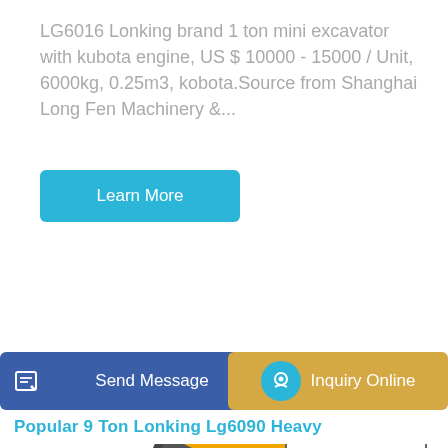LG6016 Lonking brand 1 ton mini excavator with kubota engine, US $ 10000 - 15000 / Unit, 6000kg, 0.25m3, kobota.Source from Shanghai Long Fen Machinery &...
Learn More
[Figure (photo): Large yellow Lonking heavy excavator on tracks with black bucket and cab, shown on white background.]
Send Message
Inquiry Online
Popular 9 Ton Lonking Lg6090 Heavy